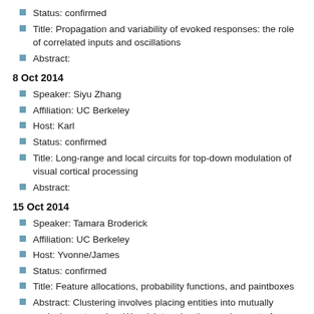Status: confirmed
Title: Propagation and variability of evoked responses: the role of correlated inputs and oscillations
Abstract:
8 Oct 2014
Speaker: Siyu Zhang
Affiliation: UC Berkeley
Host: Karl
Status: confirmed
Title: Long-range and local circuits for top-down modulation of visual cortical processing
Abstract:
15 Oct 2014
Speaker: Tamara Broderick
Affiliation: UC Berkeley
Host: Yvonne/James
Status: confirmed
Title: Feature allocations, probability functions, and paintboxes
Abstract: Clustering involves placing entities into mutually exclusive categories. We wish to relax the requirement of mutual exclusivity, allowing objects to belong simultaneously to multiple classes, a